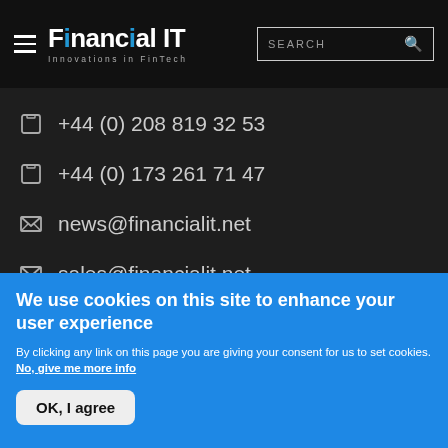Financial IT — Innovations in FinTech
+44 (0) 208 819 32 53
+44 (0) 173 261 71 47
news@financialit.net
sales@financialit.net
NAVIGATION
We use cookies on this site to enhance your user experience
By clicking any link on this page you are giving your consent for us to set cookies. No, give me more info
OK, I agree